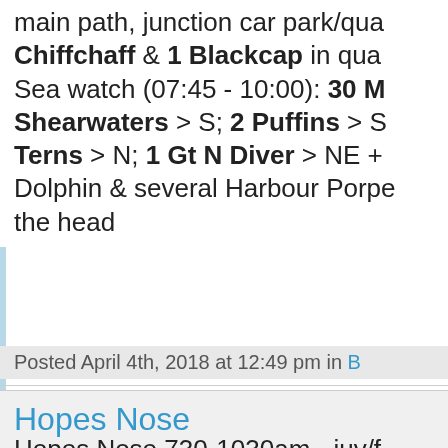main path, junction car park/qua... Chiffchaff & 1 Blackcap in qua...
Sea watch (07:45 - 10:00): 30 M... Shearwaters > S; 2 Puffins > S... Terns > N; 1 Gt N Diver > NE + Dolphin & several Harbour Porpe... the head
Posted April 4th, 2018 at 12:49 pm in B...
Hopes Nose
Hopes Nose 730-1030am - juv/f... in sewage outfall from 930am...